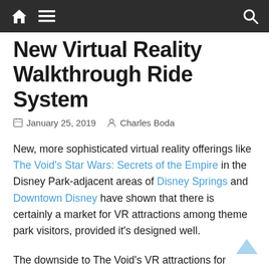Navigation bar with home, menu, and search icons
New Virtual Reality Walkthrough Ride System
January 25, 2019   Charles Boda
New, more sophisticated virtual reality offerings like The Void's Star Wars: Secrets of the Empire in the Disney Park-adjacent areas of Disney Springs and Downtown Disney have shown that there is certainly a market for VR attractions among theme park visitors, provided it's designed well.
The downside to The Void's VR attractions for theme parks themselves are that they rely on guests scheduling allotments of time so that they may wander freely over the course of the story, which might take some players a little longer than others, and guidance can be needed to keep